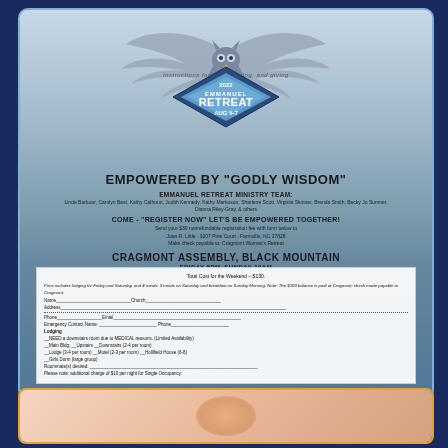[Figure (illustration): Emmanuel Retreat 2022 flyer. Features an owl with spread wings graphic over a blue diamond badge reading '2022 EMMANUEL RETREAT AUG 5-7'. Mountain forest background. Text: EMPOWERED BY GODLY WISDOM. Emmanuel Retreat Ministry Team listing. Come - Register Now Let's Be Empowered Together. Cragmont Assembly, Black Mountain. Friday 8pm-Sunday 10am. Registration form at bottom.]
[Figure (photo): Partial photo, appears to show a hand/fingers, orange border card at bottom of page.]